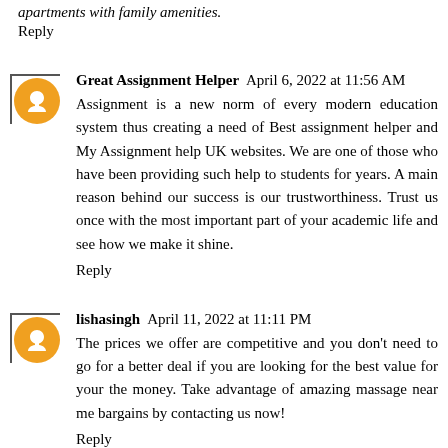apartments with family amenities.
Reply
Great Assignment Helper  April 6, 2022 at 11:56 AM
Assignment is a new norm of every modern education system thus creating a need of Best assignment helper and My Assignment help UK websites. We are one of those who have been providing such help to students for years. A main reason behind our success is our trustworthiness. Trust us once with the most important part of your academic life and see how we make it shine.
Reply
lishasingh  April 11, 2022 at 11:11 PM
The prices we offer are competitive and you don't need to go for a better deal if you are looking for the best value for your the money. Take advantage of amazing massage near me bargains by contacting us now!
Reply